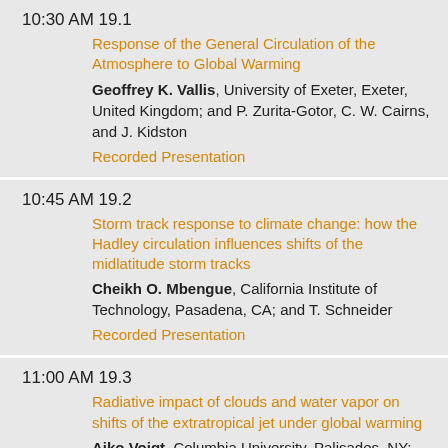10:30 AM 19.1
Response of the General Circulation of the Atmosphere to Global Warming
Geoffrey K. Vallis, University of Exeter, Exeter, United Kingdom; and P. Zurita-Gotor, C. W. Cairns, and J. Kidston
Recorded Presentation
10:45 AM 19.2
Storm track response to climate change: how the Hadley circulation influences shifts of the midlatitude storm tracks
Cheikh O. Mbengue, California Institute of Technology, Pasadena, CA; and T. Schneider
Recorded Presentation
11:00 AM 19.3
Radiative impact of clouds and water vapor on shifts of the extratropical jet under global warming
Aiko Voigt, Columbia University, Palisades, NY; and T. A. Shaw